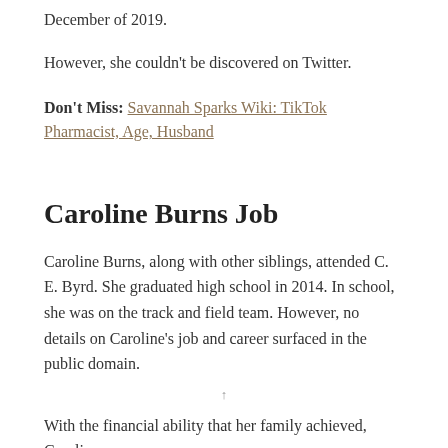December of 2019.
However, she couldn't be discovered on Twitter.
Don't Miss: Savannah Sparks Wiki: TikTok Pharmacist, Age, Husband
Caroline Burns Job
Caroline Burns, along with other siblings, attended C. E. Byrd. She graduated high school in 2014. In school, she was on the track and field team. However, no details on Caroline's job and career surfaced in the public domain.
With the financial ability that her family achieved, Caroline